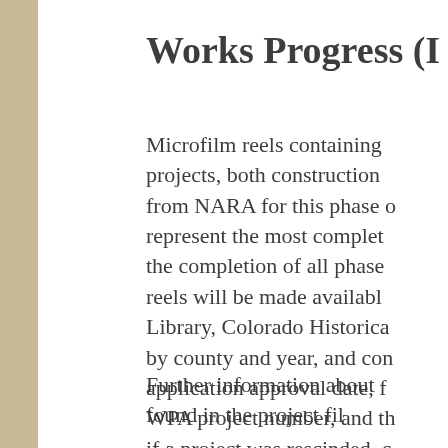Works Progress (
Microfilm reels containing projects, both construction from NARA for this phase o represent the most complet the completion of all phase reels will be made availabl Library, Colorado Historica by county and year, and con application approval date, f WPA project number, and th if a project was rescinded, c notation is handwritten on
Further information about found in the project fil